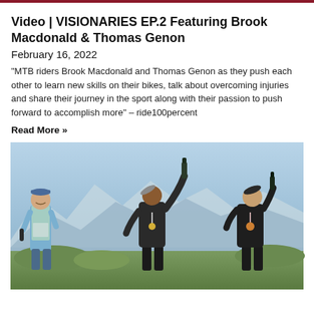Video | VISIONARIES EP.2 Featuring Brook Macdonald & Thomas Genon
February 16, 2022
"MTB riders Brook Macdonald and Thomas Genon as they push each other to learn new skills on their bikes, talk about overcoming injuries and share their journey in the sport along with their passion to push forward to accomplish more" – ride100percent
Read More »
[Figure (photo): Three MTB riders celebrating outdoors with mountain backdrop. Left figure in blue/teal vest holds bottle. Center figure in dark jacket tilts head back drinking from bottle held high. Right figure in black outfit with medal drinks from bottle. Mountains and sky visible in background.]